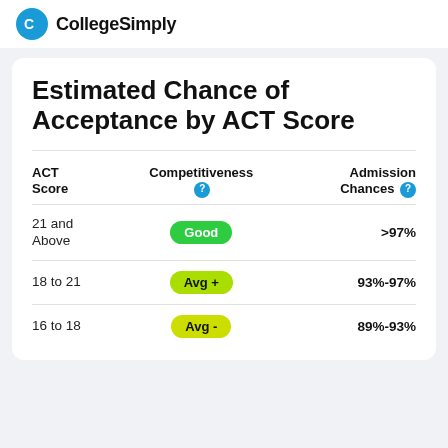CollegeSimply
Estimated Chance of Acceptance by ACT Score
| ACT Score | Competitiveness ? | Admission Chances ? |
| --- | --- | --- |
| 21 and Above | Good | >97% |
| 18 to 21 | Avg + | 93%-97% |
| 16 to 18 | Avg - | 89%-93% |